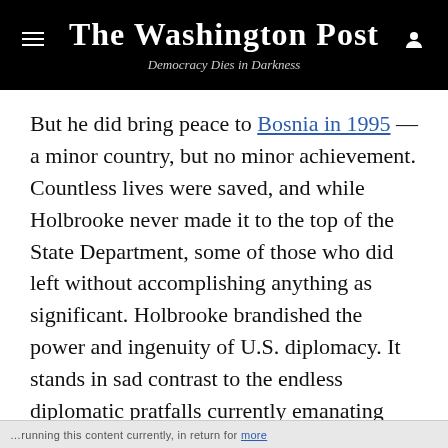The Washington Post
Democracy Dies in Darkness
But he did bring peace to Bosnia in 1995 — a minor country, but no minor achievement. Countless lives were saved, and while Holbrooke never made it to the top of the State Department, some of those who did left without accomplishing anything as significant. Holbrooke brandished the power and ingenuity of U.S. diplomacy. It stands in sad contrast to the endless diplomatic pratfalls currently emanating from the Trump administration.
Of greater consequence in the long run — and Holbrooke acknowledged this more than which
…running this content currently, in return for more